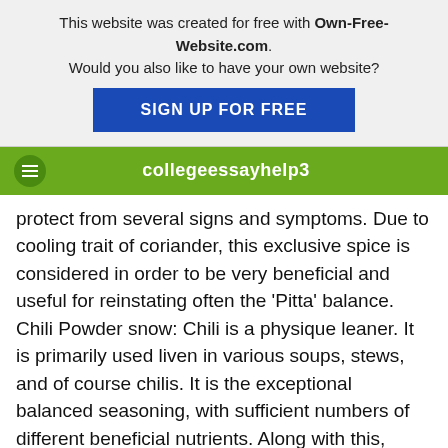This website was created for free with Own-Free-Website.com. Would you also like to have your own website? SIGN UP FOR FREE
collegeessayhelp3
protect from several signs and symptoms. Due to cooling trait of coriander, this exclusive spice is considered in order to be very beneficial and useful for reinstating often the 'Pitta' balance. Chili Powder snow: Chili is a physique leaner. It is primarily used liven in various soups, stews, and of course chilis. It is the exceptional balanced seasoning, with sufficient numbers of different beneficial nutrients. Along with this, research shows that capsaicin that is certainly extensively identified in chili peppers, has an anti-inflammatory effect that will help ease arthritic swelling as well as pain. Fenugreek: Fenugreek can be commonly used in Native indian house. It has a new sensational aroma and a nasty taste. But when this used in little evaluate it imparts flavor to be able to your meal. And, intended for medicinal gain, fenugreek is definitely actually simple but really effective treatment for several body problems such since eczema, comes, rashes, melts